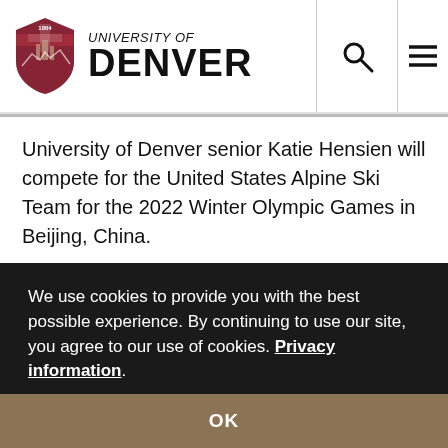University of Denver
University of Denver senior Katie Hensien will compete for the United States Alpine Ski Team for the 2022 Winter Olympic Games in Beijing, China.
Hensien is in her fourth season on the Denver Pioneers ski team and is just one of 11 women to be picked for this
We use cookies to provide you with the best possible experience. By continuing to use our site, you agree to our use of cookies. Privacy information.
OK